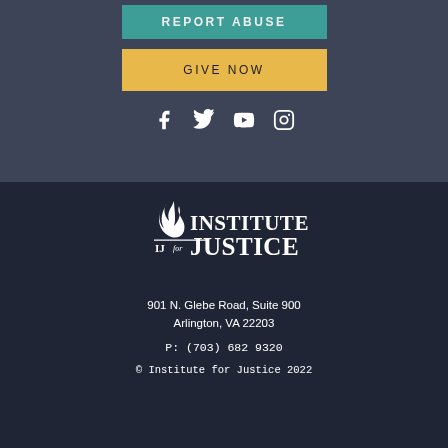REPORT ABUSE
GIVE NOW
[Figure (infographic): Social media icons: Facebook, Twitter, YouTube, Instagram in white on dark background]
[Figure (logo): Institute for Justice logo with flame icon, white text on dark background]
901 N. Glebe Road, Suite 900 Arlington, VA 22203
P: (703) 682 9320
© Institute for Justice 2022